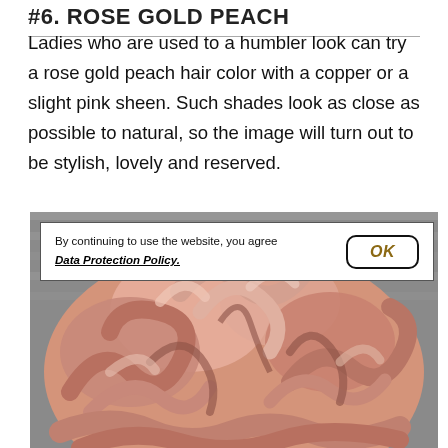#6. ROSE GOLD PEACH
Ladies who are used to a humbler look can try a rose gold peach hair color with a copper or a slight pink sheen. Such shades look as close as possible to natural, so the image will turn out to be stylish, lovely and reserved.
[Figure (photo): Close-up photo of rose gold peach wavy hair color on a woman, with a cookie consent banner overlay reading 'By continuing to use the website, you agree [Data Protection Policy.]' and an OK button]
By continuing to use the website, you agree [Data Protection Policy.]